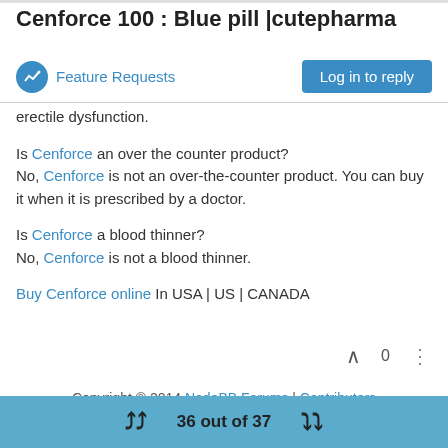Cenforce 100 : Blue pill |cutepharma
Feature Requests
Log in to reply
erectile dysfunction.
Is Cenforce an over the counter product?
No, Cenforce is not an over-the-counter product. You can buy it when it is prescribed by a doctor.
Is Cenforce a blood thinner?
No, Cenforce is not a blood thinner.
Buy Cenforce online In USA | US | CANADA
0
Copyright © 2014 NodeBB Forums | Contributors
36 out of 37